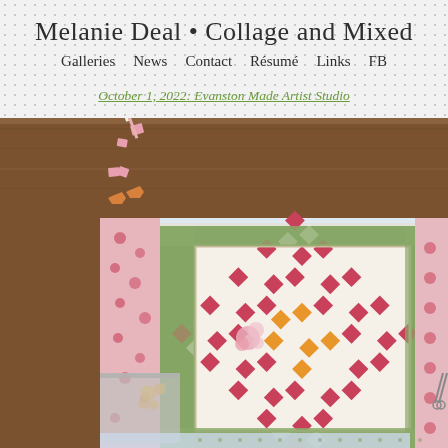Melanie Deal • Collage and Mixed
Galleries  News  Contact  Résumé  Links  FB
October 1, 2022: Evanston Made Artist Studio
[Figure (photo): Overhead view of a colorful paper quilt collage artwork in progress on a wooden table, with pink, orange, and white patterned paper pieces arranged in a diamond checkerboard pattern, surrounded by floral border strips and scattered cut paper pieces]